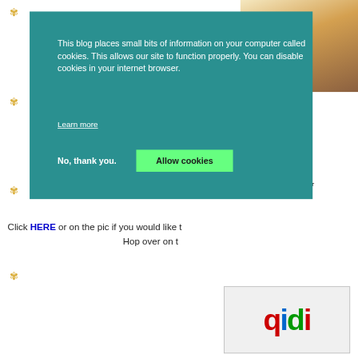[Figure (screenshot): Cookie consent dialog overlay on a blog webpage with teal background, showing privacy notice text, 'Learn more' link, 'No, thank you.' and 'Allow cookies' buttons. Background shows decorative gold fleur-de-lis pattern on left side.]
This blog places small bits of information on your computer called cookies. This allows our site to function properly. You can disable cookies in your internet browser.
Learn more
No, thank you.
Allow cookies
Click HERE or on the pic if you would like t… Hop over on t…